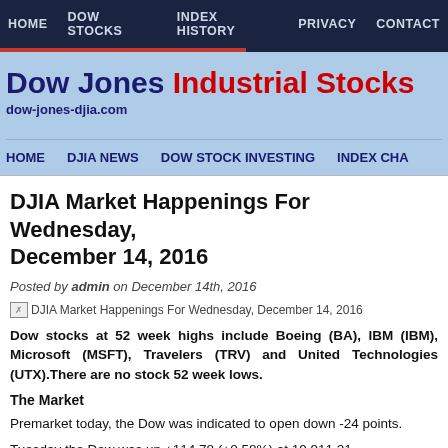HOME   DOW STOCKS   INDEX HISTORY   PRIVACY   CONTACT
Dow Jones Industrial Stocks
dow-jones-djia.com
HOME   DJIA NEWS   DOW STOCK INVESTING   INDEX CHA
DJIA Market Happenings For Wednesday, December 14, 2016
Posted by admin on December 14th, 2016
[Figure (other): DJIA Market Happenings For Wednesday, December 14, 2016 image placeholder]
Dow stocks at 52 week highs include Boeing (BA), IBM (IBM), Microsoft (MSFT), Travelers (TRV) and United Technologies (UTX).There are no stock 52 week lows.
The Market
Premarket today, the Dow was indicated to open down -24 points.
Tuesday the Dow was up +114.78 (+0.58%) at 19,911.21